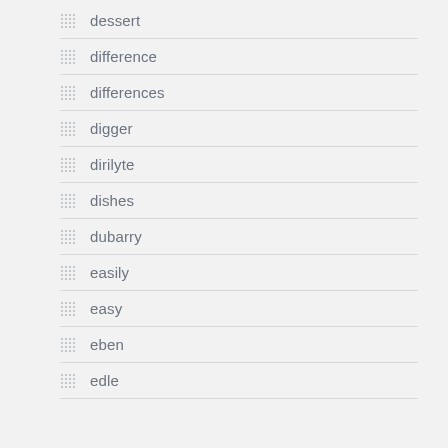dessert
difference
differences
digger
dirilyte
dishes
dubarry
easily
easy
eben
edle